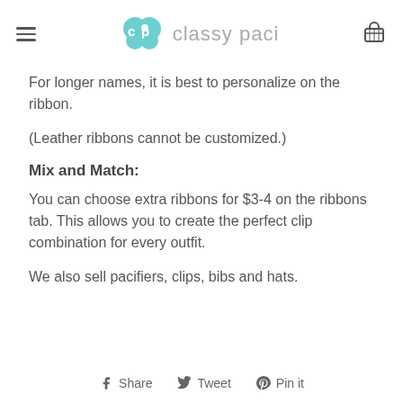classy paci
For longer names, it is best to personalize on the ribbon.
(Leather ribbons cannot be customized.)
Mix and Match:
You can choose extra ribbons for $3-4 on the ribbons tab. This allows you to create the perfect clip combination for every outfit.
We also sell pacifiers, clips, bibs and hats.
Share   Tweet   Pin it